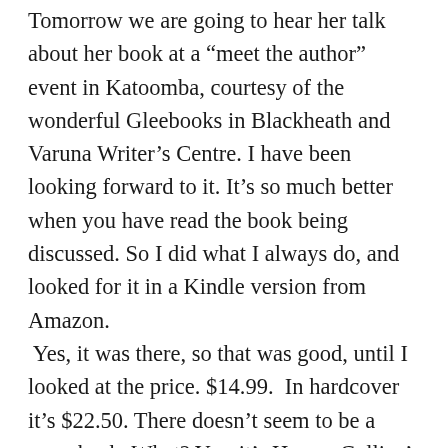Tomorrow we are going to hear her talk about her book at a “meet the author” event in Katoomba, courtesy of the wonderful Gleebooks in Blackheath and Varuna Writer’s Centre. I have been looking forward to it. It’s so much better when you have read the book being discussed. So I did what I always do, and looked for it in a Kindle version from Amazon. Yes, it was there, so that was good, until I looked at the price. $14.99. In hardcover it’s $22.50. There doesn’t seem to be a paperback. What? Yes, it’s Harper Collins’ strategy to get you to buy the hardcover, or at least to stop you buying the e-book. Who would pay $15, even if it’s a great book and you really want to read it? And who is getting the lion’s share of the inflated e-book price? You can bet it’s not